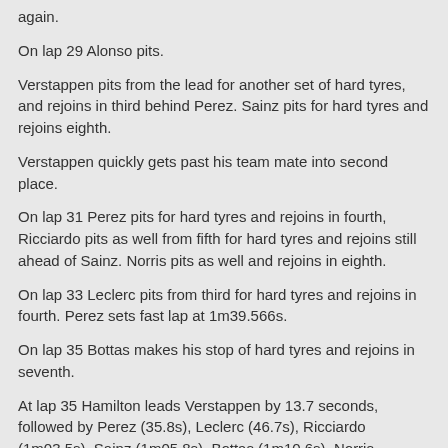again.
On lap 29 Alonso pits.
Verstappen pits from the lead for another set of hard tyres, and rejoins in third behind Perez. Sainz pits for hard tyres and rejoins eighth.
Verstappen quickly gets past his team mate into second place.
On lap 31 Perez pits for hard tyres and rejoins in fourth, Ricciardo pits as well from fifth for hard tyres and rejoins still ahead of Sainz. Norris pits as well and rejoins in eighth.
On lap 33 Leclerc pits from third for hard tyres and rejoins in fourth. Perez sets fast lap at 1m39.566s.
On lap 35 Bottas makes his stop of hard tyres and rejoins in seventh.
At lap 35 Hamilton leads Verstappen by 13.7 seconds, followed by Perez (35.8s), Leclerc (46.7s), Ricciardo (1m03.5s), Sainz (1m05.8s), Bottas (1m10.6s), Norris (1m12.8s ), Vettel (1m34.9s) and Tsunoda (1 lap) in tenth place.